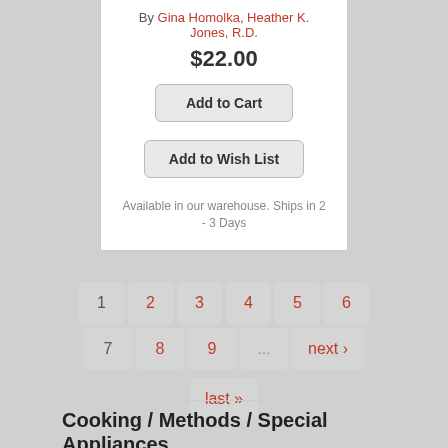By Gina Homolka, Heather K. Jones, R.D.
$22.00
Add to Cart
Add to Wish List
Available in our warehouse. Ships in 2 - 3 Days
1 2 3 4 5 6 7 8 9 ... next › last »
Cooking / Methods / Special Appliances